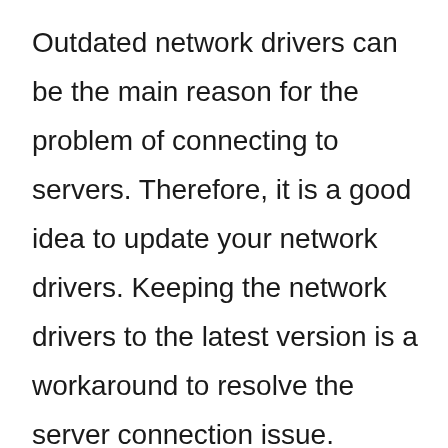Outdated network drivers can be the main reason for the problem of connecting to servers. Therefore, it is a good idea to update your network drivers. Keeping the network drivers to the latest version is a workaround to resolve the server connection issue.